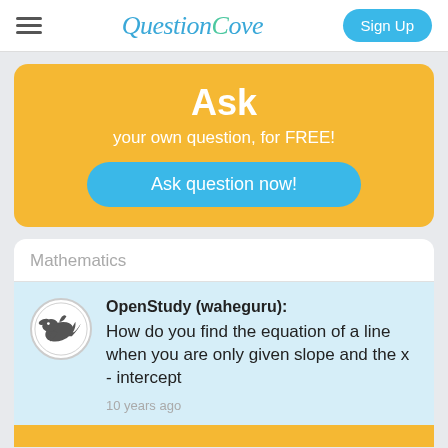QuestionCove — Sign Up
Ask
your own question, for FREE!
Ask question now!
Mathematics
OpenStudy (waheguru): How do you find the equation of a line when you are only given slope and the x - intercept
10 years ago